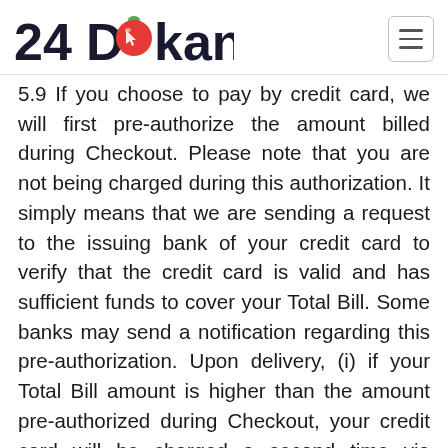24Dokan
5.9 If you choose to pay by credit card, we will first pre-authorize the amount billed during Checkout. Please note that you are not being charged during this authorization. It simply means that we are sending a request to the issuing bank of your credit card to verify that the credit card is valid and has sufficient funds to cover your Total Bill. Some banks may send a notification regarding this pre-authorization. Upon delivery, (i) if your Total Bill amount is higher than the amount pre-authorized during Checkout, your credit card will be charged a second time via recurring charges for the balance between your Checkout amount and final Total Bill. Some banks may send a notification regarding a second charge. If your